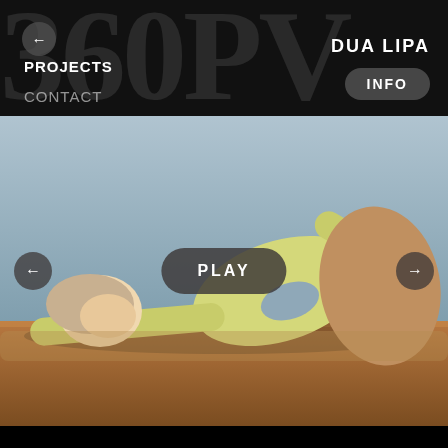360PV
← (back button)
PROJECTS
CONTACT
DUA LIPA
INFO
[Figure (photo): A woman in a yellow cut-out bodysuit lying on a wooden table, photographed from above and the side. Studio setting with a light blue-grey background.]
PLAY
← (left navigation arrow)
→ (right navigation arrow)